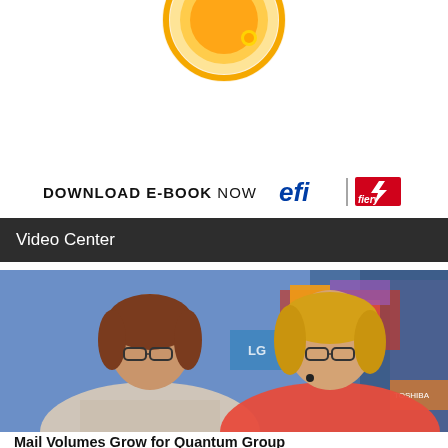[Figure (logo): Circular orange/gold logo icon at top center, partially cropped]
DOWNLOAD E-BOOK NOW
[Figure (logo): EFI logo in blue italic text, followed by vertical bar and Fiery logo in red box]
Video Center
[Figure (photo): Two women standing in front of a colorful Times Square background. Left woman has brown hair and glasses wearing a plaid top. Right woman has blonde hair and glasses wearing a red sleeveless top.]
Mail Volumes Grow for Quantum Group